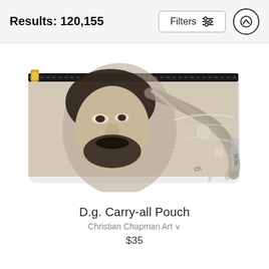Results: 120,155
[Figure (screenshot): Filter button with sliders icon and up arrow circle button in header bar]
[Figure (photo): A carry-all pouch product featuring a sepia-toned artistic portrait of a long-haired bearded man (Dave Grohl) on the front, with a gold zipper at the top]
D.g. Carry-all Pouch
Christian Chapman Art
$35